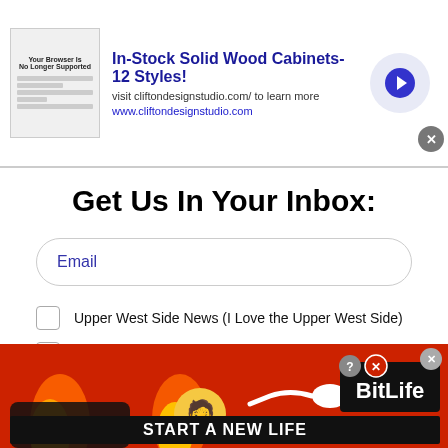[Figure (screenshot): Advertisement banner for 'In-Stock Solid Wood Cabinets-12 Styles!' from cliftondesignstudio.com with thumbnail, text, arrow button, and close button]
Get Us In Your Inbox:
Email
Upper West Side News (I Love the Upper West Side)
Upper East Side News (East Side Feed)
[Figure (other): reCAPTCHA widget with checkbox, 'I'm not a robot' text, reCAPTCHA logo, Privacy and Terms links]
[Figure (other): BitLife game advertisement banner with 'FAIL' text, emoji, flames, sperm icon, and 'START A NEW LIFE' text on red background]